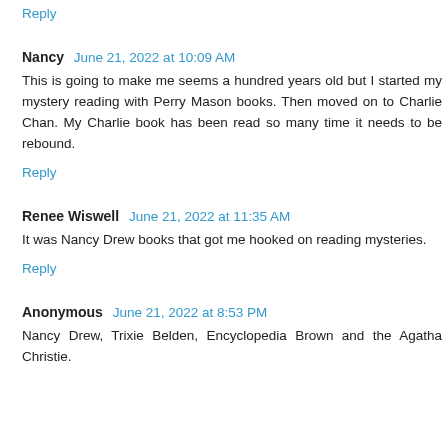Reply
Nancy  June 21, 2022 at 10:09 AM
This is going to make me seems a hundred years old but I started my mystery reading with Perry Mason books. Then moved on to Charlie Chan. My Charlie book has been read so many time it needs to be rebound.
Reply
Renee Wiswell  June 21, 2022 at 11:35 AM
It was Nancy Drew books that got me hooked on reading mysteries.
Reply
Anonymous  June 21, 2022 at 8:53 PM
Nancy Drew, Trixie Belden, Encyclopedia Brown and the Agatha Christie.